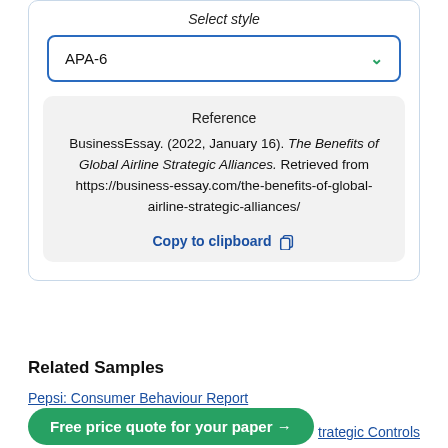Select style
APA-6
Reference
BusinessEssay. (2022, January 16). The Benefits of Global Airline Strategic Alliances. Retrieved from https://business-essay.com/the-benefits-of-global-airline-strategic-alliances/
Copy to clipboard
Related Samples
Pepsi: Consumer Behaviour Report
Free price quote for your paper →
trategic Controls